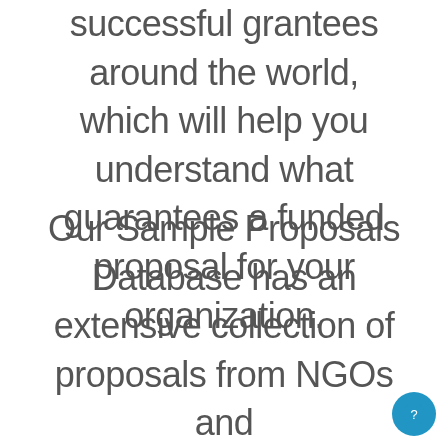successful grantees around the world, which will help you understand what guarantees a funded proposal for your organization.
Our Sample Proposals Database has an extensive collection of proposals from NGOs and